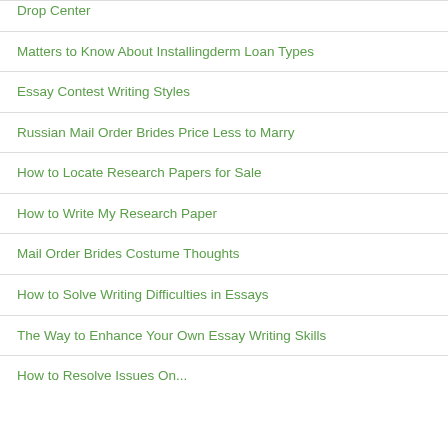Drop Center
Matters to Know About Installingderm Loan Types
Essay Contest Writing Styles
Russian Mail Order Brides Price Less to Marry
How to Locate Research Papers for Sale
How to Write My Research Paper
Mail Order Brides Costume Thoughts
How to Solve Writing Difficulties in Essays
The Way to Enhance Your Own Essay Writing Skills
How to Resolve Issues On...